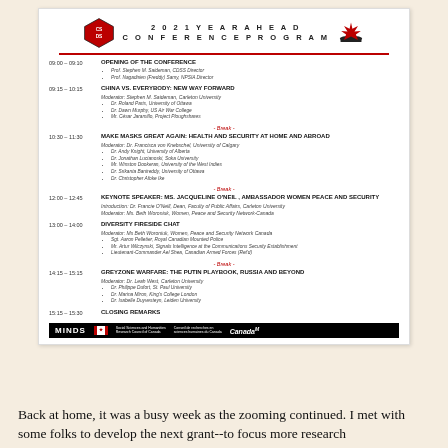[Figure (infographic): 2021 Year Ahead Conference Program flyer with schedule of sessions, logos (CSDS and other), sponsor bar with MINDS, SSHRC, Canada logos]
Back at home, it was a busy week as the zooming continued.  I met with some folks to develop the next grant--to focus more research